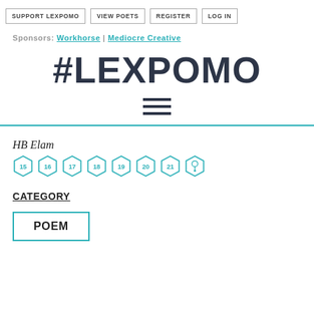SUPPORT LEXPOMO | VIEW POETS | REGISTER | LOG IN
Sponsors: Workhorse | Mediocre Creative
#LEXPOMO
[Figure (other): Hamburger menu icon (three horizontal lines)]
HB Elam
[Figure (other): Hexagonal year badges: 15, 16, 17, 18, 19, 20, 21, and a pin/bulb icon badge]
CATEGORY
POEM